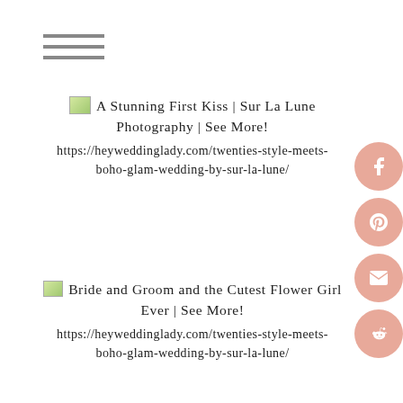[Figure (other): Hamburger menu icon with three horizontal lines]
[Figure (other): Social sharing icons: Facebook, Pinterest, Email, Reddit — pink circles on the right side]
A Stunning First Kiss | Sur La Lune Photography | See More! https://heyweddinglady.com/twenties-style-meets-boho-glam-wedding-by-sur-la-lune/
Bride and Groom and the Cutest Flower Girl Ever | See More! https://heyweddinglady.com/twenties-style-meets-boho-glam-wedding-by-sur-la-lune/